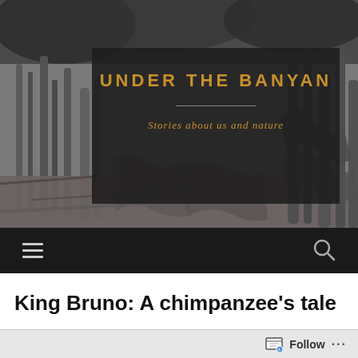[Figure (photo): Black and white photograph of a banyan tree with dense aerial roots and foliage, serving as the website header background image.]
UNDER THE BANYAN
Stories about us and nature
[Figure (other): Dark navigation bar with hamburger menu icon on the left and search/magnifying glass icon on the right.]
King Bruno: A chimpanzee's tale
Follow ...